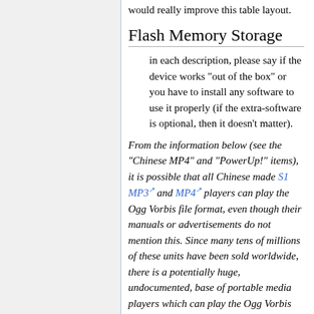would really improve this table layout.
Flash Memory Storage
in each description, please say if the device works "out of the box" or you have to install any software to use it properly (if the extra-software is optional, then it doesn't matter).
From the information below (see the "Chinese MP4" and "PowerUp!" items), it is possible that all Chinese made S1 MP3 and MP4 players can play the Ogg Vorbis file format, even though their manuals or advertisements do not mention this. Since many tens of millions of these units have been sold worldwide, there is a potentially huge, undocumented, base of portable media players which can play the Ogg Vorbis